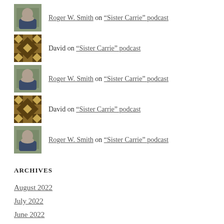Roger W. Smith on “Sister Carrie” podcast
David on “Sister Carrie” podcast
Roger W. Smith on “Sister Carrie” podcast
David on “Sister Carrie” podcast
Roger W. Smith on “Sister Carrie” podcast
ARCHIVES
August 2022
July 2022
June 2022
May 2022